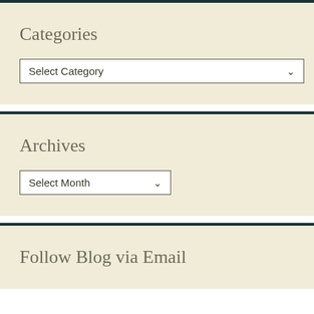Categories
Select Category
Archives
Select Month
Follow Blog via Email